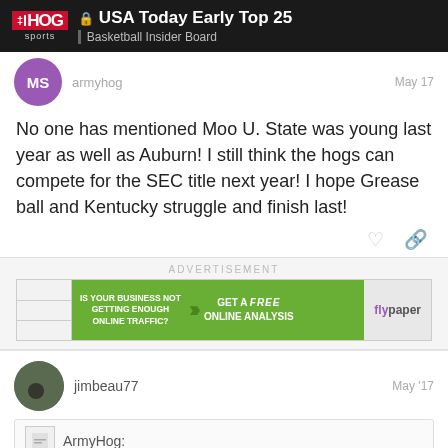USA Today Early Top 25 | Basketball Insider Board
armyhog  May 17
No one has mentioned Moo U. State was young last year as well as Auburn! I still think the hogs can compete for the SEC title next year! I hope Grease ball and Kentucky struggle and finish last!
[Figure (screenshot): Advertisement banner: IS YOUR BUSINESS NOT GETTING ENOUGH ONLINE TRAFFIC? GET A FREE ONLINE ANALYSIS - Flypaper]
jimbeau77  May '17
ArmyHog: